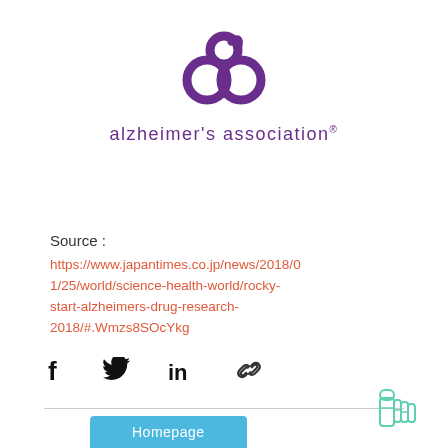[Figure (logo): Alzheimer's Association logo — purple figure-eight symbol above the text 'alzheimer's association®']
Source :
https://www.japantimes.co.jp/news/2018/01/25/world/science-health-world/rocky-start-alzheimers-drug-research-2018/#.Wmzs8SOcYkg
[Figure (infographic): Social share icons: Facebook (f), Twitter bird, LinkedIn (in), link/chain icon]
Homepage